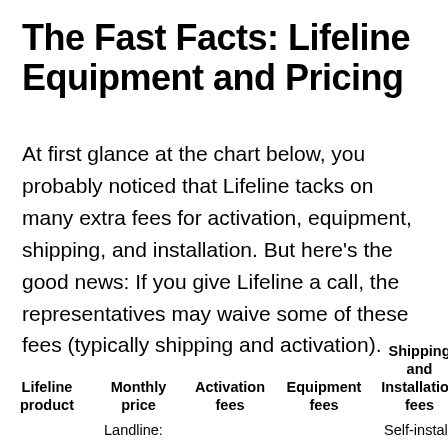The Fast Facts: Lifeline Equipment and Pricing
At first glance at the chart below, you probably noticed that Lifeline tacks on many extra fees for activation, equipment, shipping, and installation. But here's the good news: If you give Lifeline a call, the representatives may waive some of these fees (typically shipping and activation).
| Lifeline product | Monthly price | Activation fees | Equipment fees | Shipping and Installation fees |
| --- | --- | --- | --- | --- |
|  | Landline: |  |  | Self-install: |